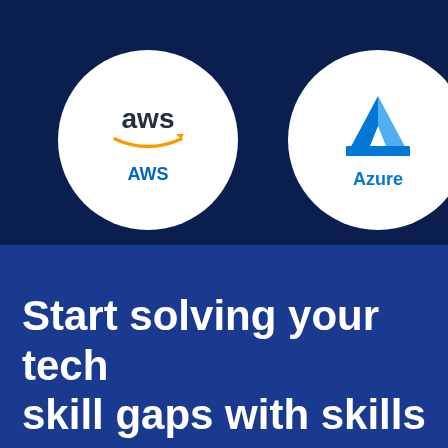[Figure (illustration): Cloud provider logos (AWS and Azure) displayed in white circles on a dark navy blue background. A third partially visible circle on the right edge appears to be the Google Cloud logo. AWS circle shows the AWS text logo with orange smile and 'AWS' label in blue. Azure circle shows the Azure 'A' logo in blue with 'Azure' label in blue.]
Start solving your tech skill gaps with skills